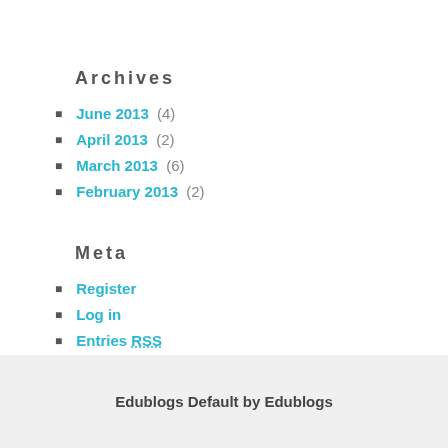Archives
June 2013 (4)
April 2013 (2)
March 2013 (6)
February 2013 (2)
Meta
Register
Log in
Entries RSS
Comments RSS
Edublogs - free blogs for education
Edublogs Default by Edublogs